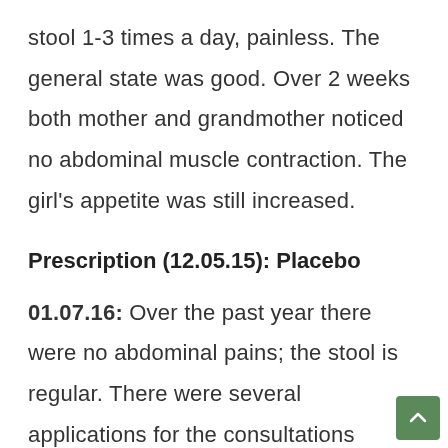stool 1-3 times a day, painless. The general state was good. Over 2 weeks both mother and grandmother noticed no abdominal muscle contraction. The girl's appetite was still increased.
Prescription (12.05.15): Placebo
01.07.16: Over the past year there were no abdominal pains; the stool is regular. There were several applications for the consultations during the year because o